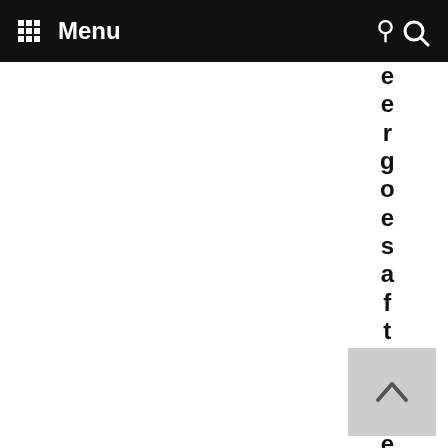Menu
ergoesafter her & the nth
[Figure (other): Back to top button with upward arrow chevron on grey background]